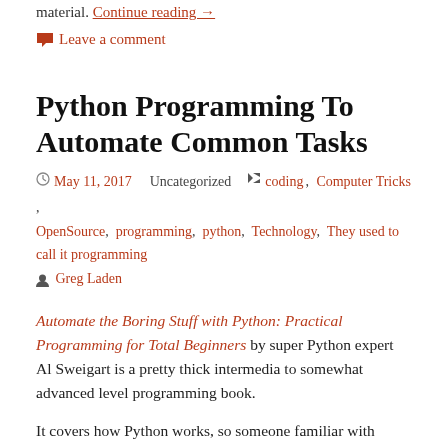material. Continue reading →
💬 Leave a comment
Python Programming To Automate Common Tasks
May 11, 2017   Uncategorized   🏷 coding, Computer Tricks, OpenSource, programming, python, Technology, They used to call it programming   👤 Greg Laden
Automate the Boring Stuff with Python: Practical Programming for Total Beginners by super Python expert Al Sweigart is a pretty thick intermedia to somewhat advanced level programming book.
It covers how Python works, so someone familiar with programming languages can get up to speed. Then, the